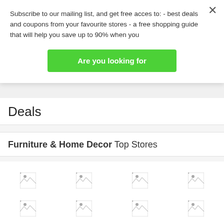Subscribe to our mailing list, and get free acces to: - best deals and coupons from your favourite stores - a free shopping guide that will help you save up to 90% when you
Are you looking for
Deals
Furniture & Home Decor Top Stores
[Figure (other): Grid of 8 broken image icons representing store logos in two rows of four]
[Figure (other): Bottom area with gray background]